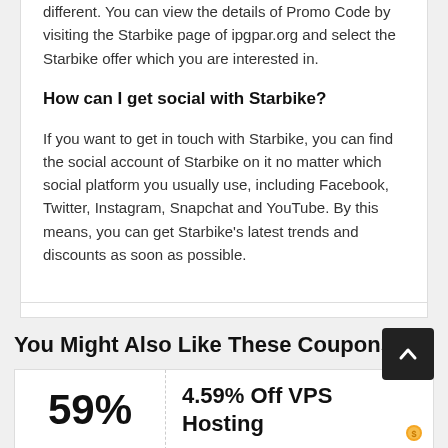different. You can view the details of Promo Code by visiting the Starbike page of ipgpar.org and select the Starbike offer which you are interested in.
How can I get social with Starbike?
If you want to get in touch with Starbike, you can find the social account of Starbike on it no matter which social platform you usually use, including Facebook, Twitter, Instagram, Snapchat and YouTube. By this means, you can get Starbike’s latest trends and discounts as soon as possible.
You Might Also Like These Coupons
59%
4.59% Off VPS Hosting